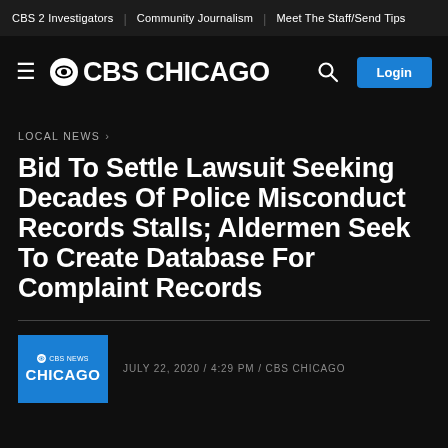CBS 2 Investigators  |  Community Journalism  |  Meet The Staff/Send Tips
[Figure (logo): CBS Chicago logo with hamburger menu, CBS eye logo, search icon, and Login button]
LOCAL NEWS >
Bid To Settle Lawsuit Seeking Decades Of Police Misconduct Records Stalls; Aldermen Seek To Create Database For Complaint Records
JULY 22, 2020 / 4:29 PM / CBS CHICAGO